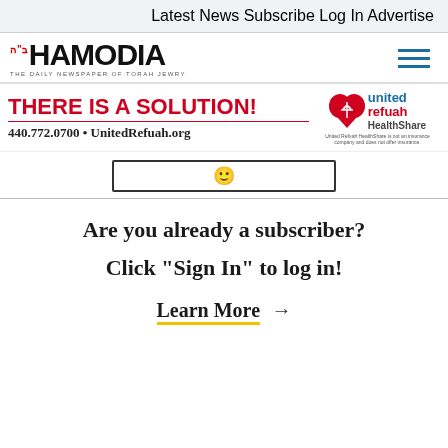Latest News   Subscribe   Log In   Advertise
[Figure (logo): Hamodia newspaper logo with text 'THE DAILY NEWSPAPER OF TORAH JEWRY' and hamburger menu icon]
[Figure (infographic): Advertisement banner: 'THERE IS A SOLUTION!' in red, '440.772.0700 • UnitedRefuah.org' and United Refuah HealthShare logo]
[Figure (other): Partial search/input box visible at top]
Are you already a subscriber?
Click "Sign In" to log in!
Learn More →